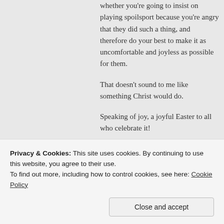whether you're going to insist on playing spoilsport because you're angry that they did such a thing, and therefore do your best to make it as uncomfortable and joyless as possible for them.
That doesn't sound to me like something Christ would do.
Speaking of joy, a joyful Easter to all who celebrate it!
★ Liked by 3 people
Privacy & Cookies: This site uses cookies. By continuing to use this website, you agree to their use.
To find out more, including how to control cookies, see here: Cookie Policy
Close and accept